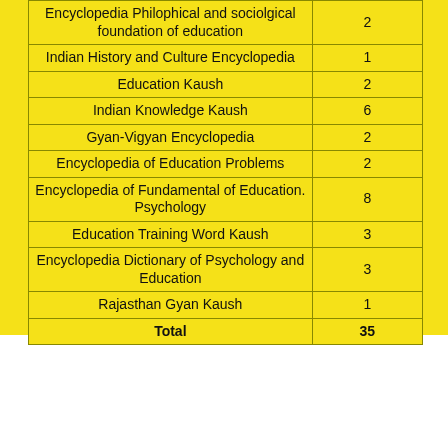| Name | Count |
| --- | --- |
| Encyclopedia Philophical and sociolgical foundation of education | 2 |
| Indian History and Culture Encyclopedia | 1 |
| Education Kaush | 2 |
| Indian Knowledge Kaush | 6 |
| Gyan-Vigyan Encyclopedia | 2 |
| Encyclopedia of Education Problems | 2 |
| Encyclopedia of Fundamental of Education. Psychology | 8 |
| Education Training Word Kaush | 3 |
| Encyclopedia Dictionary of Psychology and Education | 3 |
| Rajasthan Gyan Kaush | 1 |
| Total | 35 |